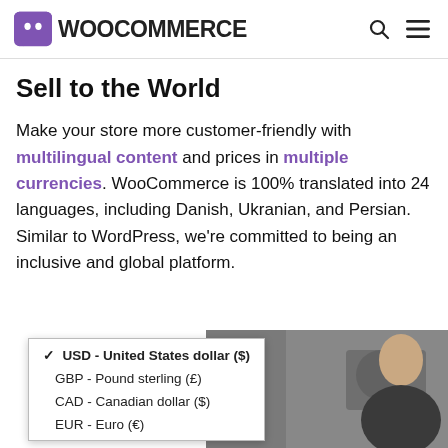WooCommerce
Sell to the World
Make your store more customer-friendly with multilingual content and prices in multiple currencies. WooCommerce is 100% translated into 24 languages, including Danish, Ukranian, and Persian. Similar to WordPress, we're committed to being an inclusive and global platform.
[Figure (screenshot): Currency selector dropdown showing USD - United States dollar ($), GBP - Pound sterling (£), CAD - Canadian dollar ($), EUR - Euro (€), overlaid on a photo of a person]